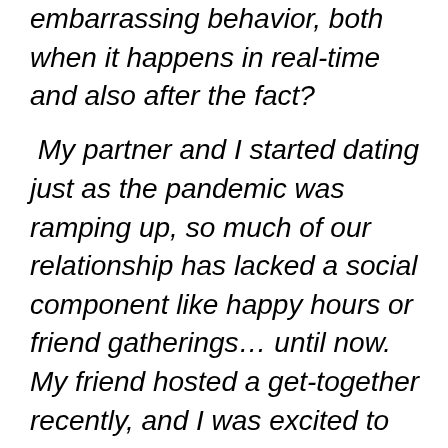embarrassing behavior, both when it happens in real-time and also after the fact?

 My partner and I started dating just as the pandemic was ramping up, so much of our relationship has lacked a social component like happy hours or friend gatherings… until now. My friend hosted a get-together recently, and I was excited to have her get to know my wonderful, sweet, amazing boyfriend. Instead, what